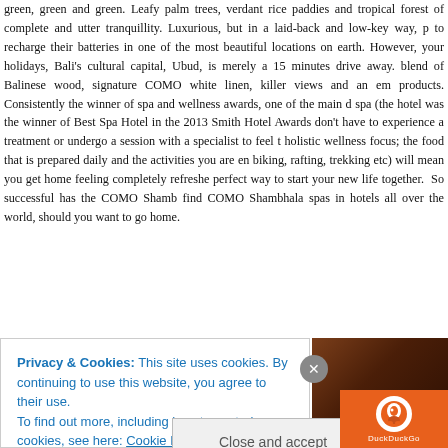green, green and green. Leafy palm trees, verdant rice paddies and tropical forest of complete and utter tranquillity. Luxurious, but in a laid-back and low-key way, to recharge their batteries in one of the most beautiful locations on earth. However, your holidays, Bali's cultural capital, Ubud, is merely a 15 minutes drive away. blend of Balinese wood, signature COMO white linen, killer views and an em products. Consistently the winner of spa and wellness awards, one of the main d spa (the hotel was the winner of Best Spa Hotel in the 2013 Smith Hotel Awards don't have to experience a treatment or undergo a session with a specialist to feel t holistic wellness focus; the food that is prepared daily and the activities you are en biking, rafting, trekking etc) will mean you get home feeling completely refreshe perfect way to start your new life together.  So successful has the COMO Shamb find COMO Shambhala spas in hotels all over the world, should you want to go home.
[Figure (photo): Brown/dark wood interior photo, partially obscured by cookie banner overlay]
Privacy & Cookies: This site uses cookies. By continuing to use this website, you agree to their use.
To find out more, including how to control cookies, see here: Cookie Policy
Close and accept
[Figure (logo): DuckDuckGo logo — orange duck icon with DuckDuckGo text on orange background]